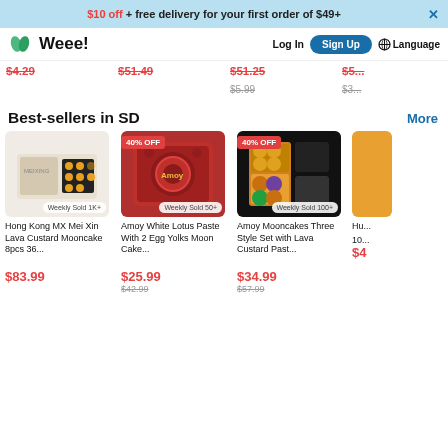$10 off + free delivery for your first order of $49+
[Figure (logo): Weee! grocery delivery app logo with green leaf icon]
Log In   Sign Up   Language
$4.29  $51.49  $51.25  $5...  $5.99  $3...
Best-sellers in SD   More
[Figure (photo): Hong Kong MX Mei Xin Lava Custard Mooncake 8pcs product image, Weekly Sold 1K+]
[Figure (photo): Amoy White Lotus Paste With 2 Egg Yolks Moon Cake product image, 40% OFF, Weekly Sold 50+]
[Figure (photo): Amoy Mooncakes Three Style Set with Lava Custard Paste product image, 40% OFF, Weekly Sold 100+]
Hong Kong MX Mei Xin Lava Custard Mooncake 8pcs 36...
$83.99
Amoy White Lotus Paste With 2 Egg Yolks Moon Cake...
$25.99
$42.99
Amoy Mooncakes Three Style Set with Lava Custard Past...
$34.99
$57.99